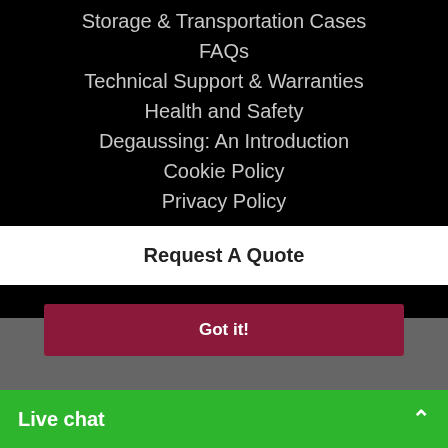Storage & Transportation Cases
FAQs
Technical Support & Warranties
Health and Safety
Degaussing: An Introduction
Cookie Policy
Privacy Policy
Request A Quote
Web Sitemap
This website uses cookies to ensure you get the best experience on our website
Learn more
Got it!
© Copyright VS Security Products 2022
Live chat